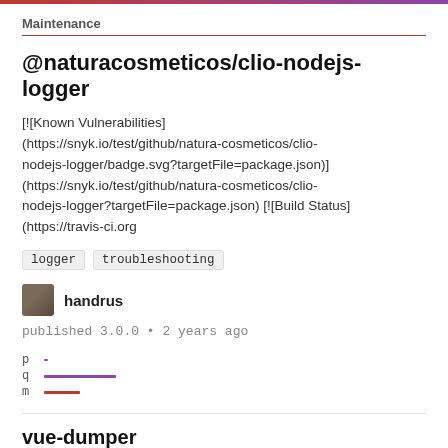Maintenance
@naturacosmeticos/clio-nodejs-logger
[![Known Vulnerabilities]
(https://snyk.io/test/github/natura-cosmeticos/clio-nodejs-logger/badge.svg?targetFile=package.json)]
(https://snyk.io/test/github/natura-cosmeticos/clio-nodejs-logger?targetFile=package.json) [![Build Status]
(https://travis-ci.org
logger   troubleshooting
handrus
published 3.0.0 • 2 years ago
[Figure (infographic): p q m score bars: p has a tiny purple dot, q has a medium purple bar, m has a short red bar]
vue-dumper